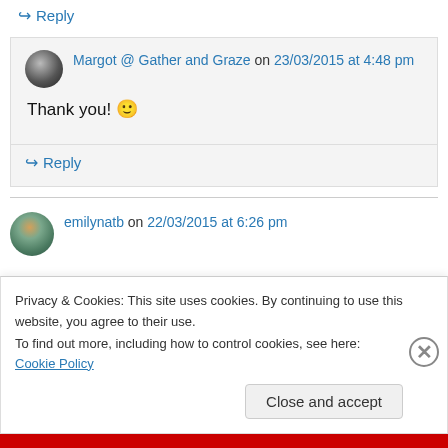↪ Reply
Margot @ Gather and Graze on 23/03/2015 at 4:48 pm
Thank you! 🙂
↪ Reply
emilynatb on 22/03/2015 at 6:26 pm
Privacy & Cookies: This site uses cookies. By continuing to use this website, you agree to their use.
To find out more, including how to control cookies, see here: Cookie Policy
Close and accept